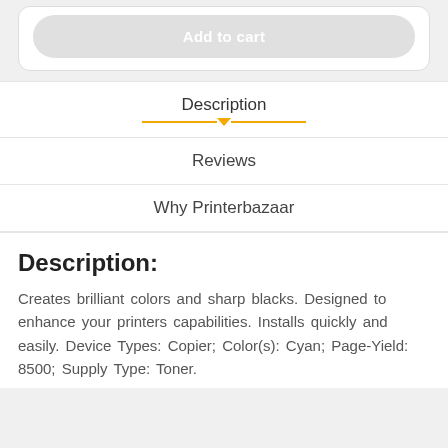Add to cart
Description
Reviews
Why Printerbazaar
Description:
Creates brilliant colors and sharp blacks. Designed to enhance your printers capabilities. Installs quickly and easily. Device Types: Copier; Color(s): Cyan; Page-Yield: 8500; Supply Type: Toner.